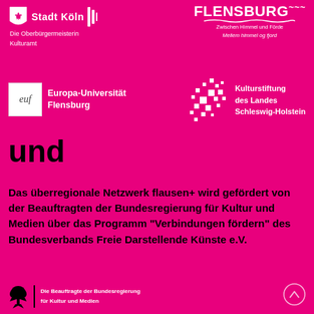[Figure (logo): Stadt Köln city logo with shield and eagle, text: Die Oberbürgermeisterin Kulturamt]
[Figure (logo): FLENSBURG city logo with text: Zwischen Himmel und Förde / Mellem himmel og fjord]
[Figure (logo): Europa-Universität Flensburg (euf) logo]
[Figure (logo): Kulturstiftung des Landes Schleswig-Holstein logo with dot pattern]
und
Das überregionale Netzwerk flausen+ wird gefördert von der Beauftragten der Bundesregierung für Kultur und Medien über das Programm "Verbindungen fördern" des Bundesverbands Freie Darstellende Künste e.V.
[Figure (logo): Die Beauftragte der Bundesregierung für Kultur und Medien - federal eagle logo with text]